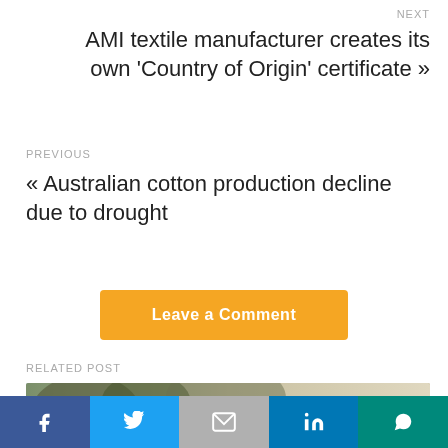NEXT
AMI textile manufacturer creates its own ‘Country of Origin’ certificate »
PREVIOUS
« Australian cotton production decline due to drought
Leave a Comment
RELATED POST
[Figure (photo): Outdoor photo showing trees and a person in the background]